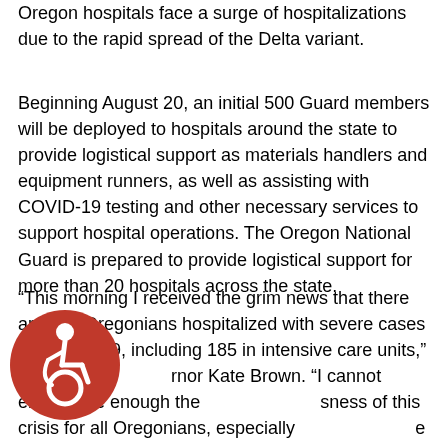Oregon hospitals face a surge of hospitalizations due to the rapid spread of the Delta variant.
Beginning August 20, an initial 500 Guard members will be deployed to hospitals around the state to provide logistical support as materials handlers and equipment runners, as well as assisting with COVID-19 testing and other necessary services to support hospital operations. The Oregon National Guard is prepared to provide logistical support for more than 20 hospitals across the state.
“This morning I received the grim news that there are 733 Oregonians hospitalized with severe cases of COVID-19, including 185 in intensive care units,” said Governor Kate Brown. “I cannot emphasize enough the seriousness of this crisis for all Oregonians, especially those needing emergency and intensive care. When our hospitals are full with COVID-19 patients, there may not
[Figure (logo): Red circle with white accessibility icon (wheelchair user symbol)]